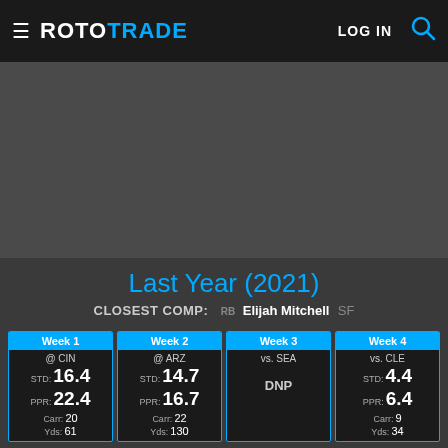ROTOTRADE
Last Year (2021)
CLOSEST COMP: RB Elijah Mitchell SF
| Week 1 | Week 2 | Week 3 | Week 4 |
| --- | --- | --- | --- |
| @ CIN | @ ARZ | vs. SEA | vs. CLE |
| STD: 16.4 | STD: 14.7 | DNP | STD: 4.4 |
| PPR: 22.4 | PPR: 16.7 |  | PPR: 6.4 |
| Carr: 20 | Carr: 22 |  | Carr: 9 |
| Yds: 61 | Yds: 130 |  | Yds: 34 |